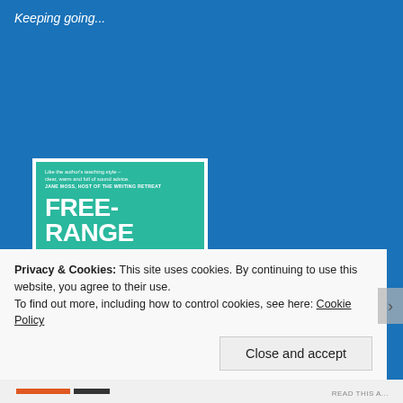Keeping going...
[Figure (illustration): Book cover for 'Free-Range Writing: 75 Forays for the Wild Writer's Soul' on a teal/green background with white title text and yellow-green subtitle text. Quote at top reads: 'Like the author's teaching style – clear, warm and full of sound advice. JANE MOSS, HOST OF THE WRITING RETREAT']
Privacy & Cookies: This site uses cookies. By continuing to use this website, you agree to their use.
To find out more, including how to control cookies, see here: Cookie Policy
Close and accept